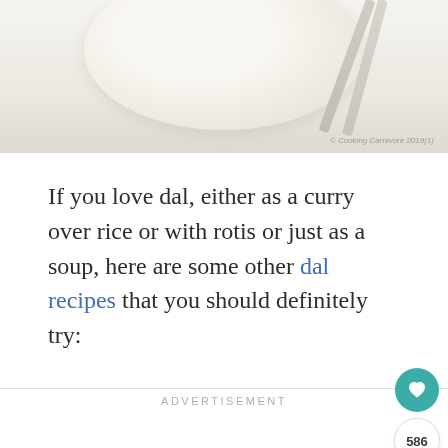[Figure (photo): Top portion of a bowl of dal (lentil soup/curry) with chopsticks visible on the right side, photographed from above on a white/light background. Partial image showing the rim and contents of the bowl.]
If you love dal, either as a curry over rice or with rotis or just as a soup, here are some other dal recipes that you should definitely try:
ADVERTISEMENT